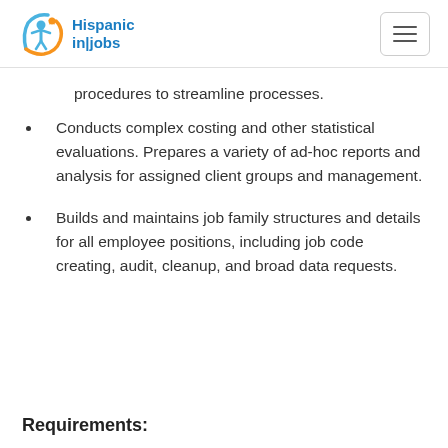Hispanic in|jobs
procedures to streamline processes.
Conducts complex costing and other statistical evaluations. Prepares a variety of ad-hoc reports and analysis for assigned client groups and management.
Builds and maintains job family structures and details for all employee positions, including job code creating, audit, cleanup, and broad data requests.
Requirements: